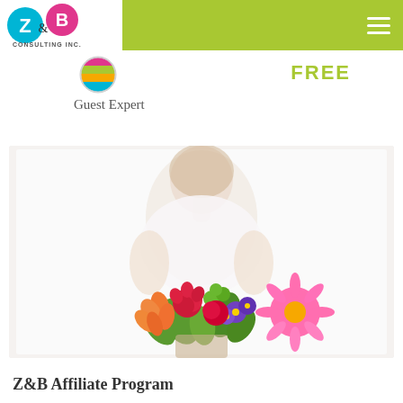[Figure (logo): Z&B Consulting Inc. logo with colorful Z and B letters in circles on white background, set in a lime green header bar]
[Figure (logo): Colorful striped ball/globe icon representing Guest Expert]
Guest Expert
FREE
[Figure (photo): Woman in white top holding a colorful bouquet of flowers including pink gerbera daisies, red carnations, orange alstroemeria, green button flowers, and purple flowers]
Z&B Affiliate Program